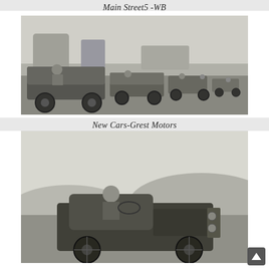Main Street5 -WB
[Figure (photo): Black and white historical photograph showing a line of early automobiles with passengers driving across an open field, circa early 1900s.]
New Cars-Grest Motors
[Figure (photo): Black and white historical photograph showing a person seated in an early open-top automobile, outdoors with hills in the background.]